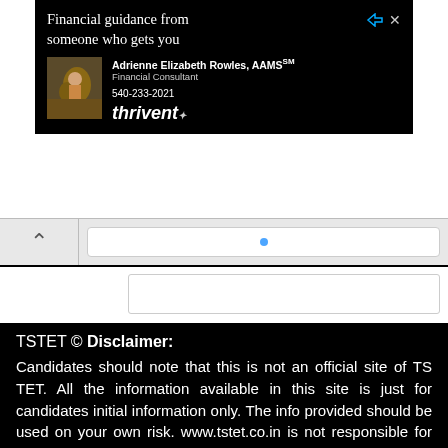[Figure (screenshot): Advertisement banner for Thrivent financial services featuring Adrienne Elizabeth Rowles, AAMS, Financial Consultant, phone 540-233-2021, with a photo of a woman with a horse on a black background.]
[Figure (screenshot): Browser navigation bar with back arrow and URL bar showing a blue dot, followed by a tab/page content area with white background.]
TSTET © Disclaimer: Candidates should note that this is not an official site of TSTET. All the information available in this site is just for candidates initial information only. The info provided should be used on your own risk. www.tstet.co.in is not responsible for any mistakes. All the discussions & comments discussed & answered in this website may not to be taken as granted. Candidates has to refer official site for final decision. We are not responsible for any wrong answers or wrong information by us or from any others. For Telangana State Teachers Eligibility Test (TSTET) official